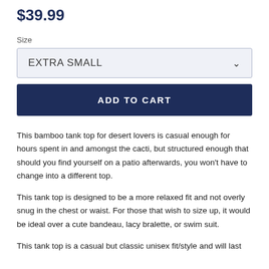$39.99
Size
EXTRA SMALL
ADD TO CART
This bamboo tank top for desert lovers is casual enough for hours spent in and amongst the cacti, but structured enough that should you find yourself on a patio afterwards, you won't have to change into a different top.
This tank top is designed to be a more relaxed fit and not overly snug in the chest or waist. For those that wish to size up, it would be ideal over a cute bandeau, lacy bralette, or swim suit.
This tank top is a casual but classic unisex fit/style and will last